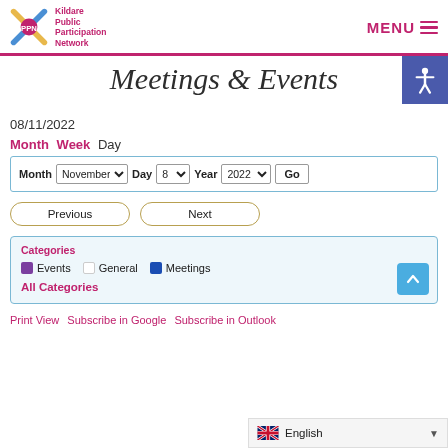Kildare Public Participation Network | MENU
Meetings & Events
08/11/2022
Month Week Day
Month November Day 8 Year 2022 Go
Previous  Next
Categories
Events  General  Meetings
All Categories
Print View  Subscribe in Google  Subscribe in Outlook